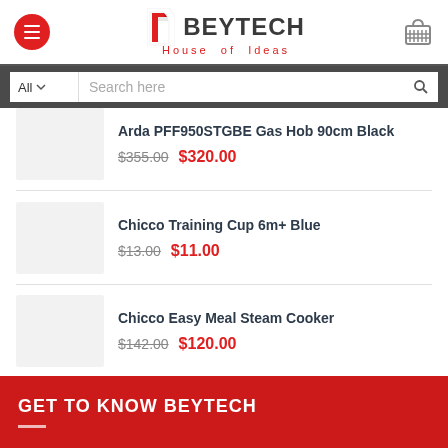[Figure (logo): Beytech House of Ideas logo with red icon and grey text]
All  Search here
Arda PFF950STGBE Gas Hob 90cm Black — $355.00  $320.00
Chicco Training Cup 6m+ Blue — $13.00  $11.00
Chicco Easy Meal Steam Cooker — $142.00  $120.00
GET TO KNOW BEYTECH